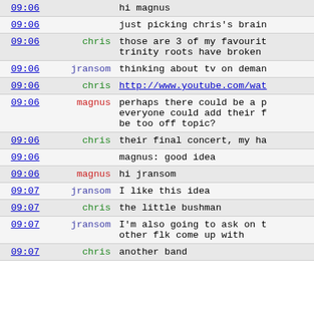| time | user | message |
| --- | --- | --- |
| 09:06 |  | hi magnus |
| 09:06 |  | just picking chris's brain |
| 09:06 | chris | those are 3 of my favourite trinity roots have broken |
| 09:06 | jransom | thinking about tv on demand |
| 09:06 | chris | http://www.youtube.com/wat... |
| 09:06 | magnus | perhaps there could be a p everyone could add their f be too off topic? |
| 09:06 | chris | their final concert, my ha |
| 09:06 |  | magnus: good idea |
| 09:06 | magnus | hi jransom |
| 09:07 | jransom | I like this idea |
| 09:07 | chris | the little bushman |
| 09:07 | jransom | I'm also going to ask on t other flk come up with |
| 09:07 | chris | another band |